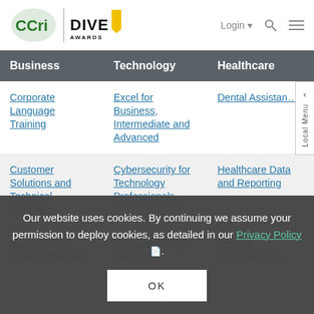CCRI | DIVE AWARDS — Login, Search, Menu
| Business | Technology | Healthcare |
| --- | --- | --- |
| Corporate Language Training | Excel for Business, Intermediate and Advanced | Dental Assistance |
| Customer Solutions and Technical Assistance | Cybersecurity for Technology Professionals | Healthcare Data and Reporting |
| Business and Digital Essentials | Data Literacy and Reporting | Medical Terminology for |
Our website uses cookies. By continuing we assume your permission to deploy cookies, as detailed in our Privacy Policy.
OK